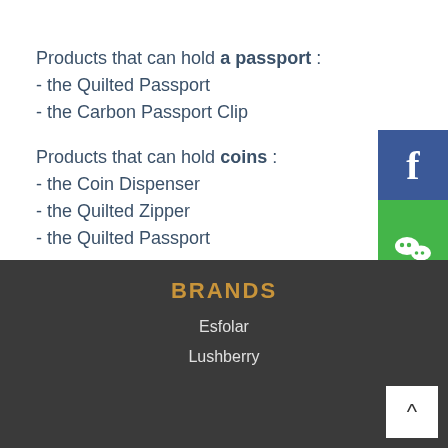Products that can hold a passport :
- the Quilted Passport
- the Carbon Passport Clip
Products that can hold coins :
- the Coin Dispenser
- the Quilted Zipper
- the Quilted Passport
Tags: QUILTED PASSPORT
[Figure (logo): Facebook blue button with white F icon]
[Figure (logo): WeChat green button with white WeChat icon]
BRANDS
Esfolar
Lushberry
[Figure (other): Back to top button with upward caret arrow]